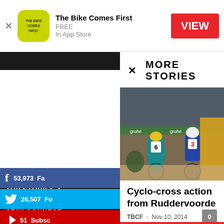[Figure (screenshot): App store banner for 'The Bike Comes First' app with yellow-green icon, FREE label, and red VIEW button]
MORE STORIES
[Figure (photo): Two cyclo-cross cyclists racing on sand, wearing numbers 6 and 3, with spectators and sponsors banners in background]
Cyclo-cross action from Ruddervoorde
TBCF - Nov 10, 2014
TOP STORIES
STAY CONNECTED
53,973 Fa
26,507 Fo
51 Subsc